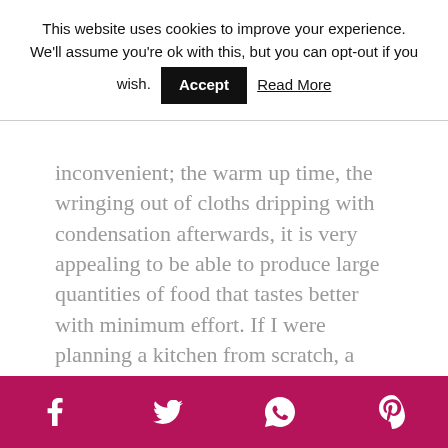This website uses cookies to improve your experience. We'll assume you're ok with this, but you can opt-out if you wish. Accept Read More
inconvenient; the warm up time, the wringing out of cloths dripping with condensation afterwards, it is very appealing to be able to produce large quantities of food that tastes better with minimum effort. If I were planning a kitchen from scratch, a steam oven would give an extra method of cooking which has many advantages.
Social share bar: Facebook, Twitter, WhatsApp, Pinterest